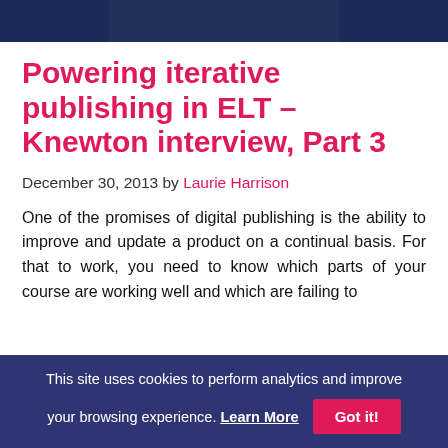[Figure (photo): Top portion of a person's photo showing dark clothing, cropped at the top of the page]
Powering iterative publishing in ELT – Knewton interview, Part 3
December 30, 2013 by Laurie Harrison
One of the promises of digital publishing is the ability to improve and update a product on a continual basis. For that to work, you need to know which parts of your course are working well and which are failing to
This site uses cookies to perform analytics and improve your browsing experience. Learn More  Got it!